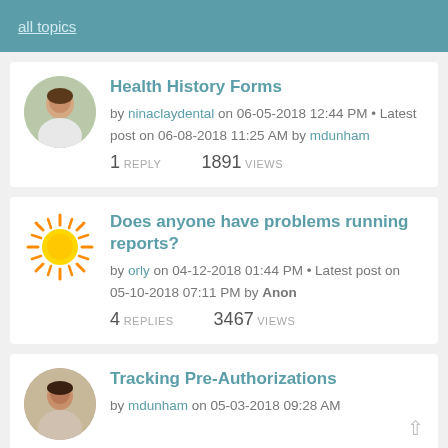all topics
Health History Forms
by ninaclaydental on 06-05-2018 12:44 PM • Latest post on 06-08-2018 11:25 AM by mdunham
1 REPLY   1891 VIEWS
Does anyone have problems running reports?
by orly on 04-12-2018 01:44 PM • Latest post on 05-10-2018 07:11 PM by Anon
4 REPLIES   3467 VIEWS
Tracking Pre-Authorizations
by mdunham on 05-03-2018 09:28 AM